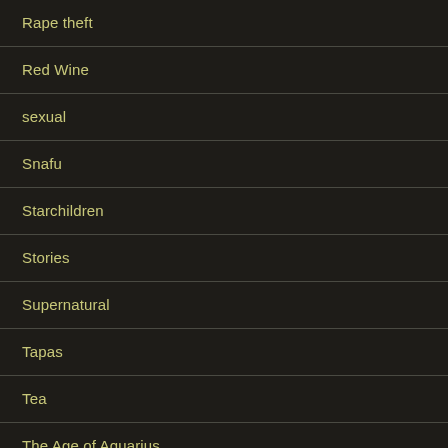Rape theft
Red Wine
sexual
Snafu
Starchildren
Stories
Supernatural
Tapas
Tea
The Age of Aquarius
The Age of Pisces